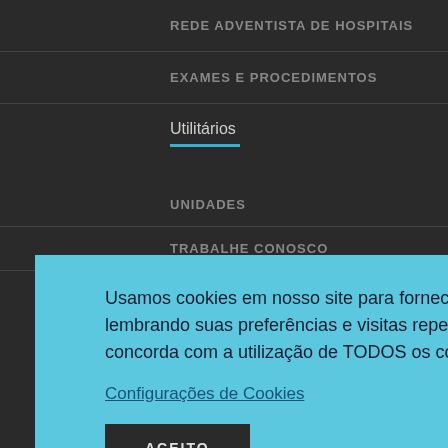REDE ADVENTISTA DE HOSPITAIS
EXAMES E PROCEDIMENTOS
Utilitários
UNIDADES
TRABALHE CONOSCO
Usamos cookies em nosso site para fornecer a experiência mais relevante, lembrando suas preferências e visitas repetidas. Ao clicar em "Aceitar", concorda com a utilização de TODOS os cookies. Saiba Mais
Configurações de Cookies
ACEITO
Cep: 91330-290